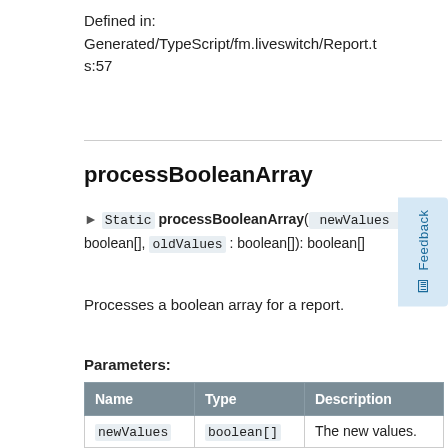Defined in:
Generated/TypeScript/fm.liveswitch/Report.ts:57
processBooleanArray
▶ Static processBooleanArray( newValues : boolean[], oldValues : boolean[]): boolean[]
Processes a boolean array for a report.
Parameters:
| Name | Type | Description |
| --- | --- | --- |
| newValues | boolean[] | The new values. |